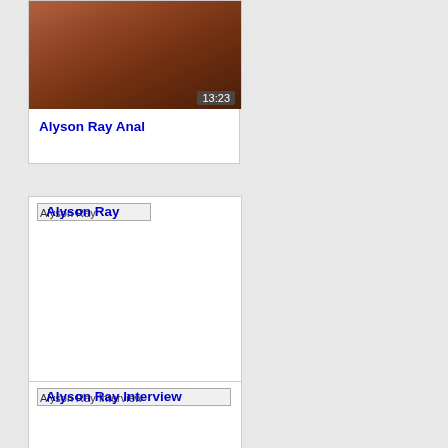[Figure (screenshot): Video thumbnail showing a brownish-reddish scene with a duration badge reading 13:23 in the bottom right.]
Alyson Ray Anal
[Figure (screenshot): Broken image placeholder labeled 'Alyson Ray' at top, large white space below with duration badge 00:35 at bottom right.]
Alyson Ray
[Figure (screenshot): Broken image placeholder labeled 'Alyson Ray Interview' at top of card.]
Alyson Ray Interview